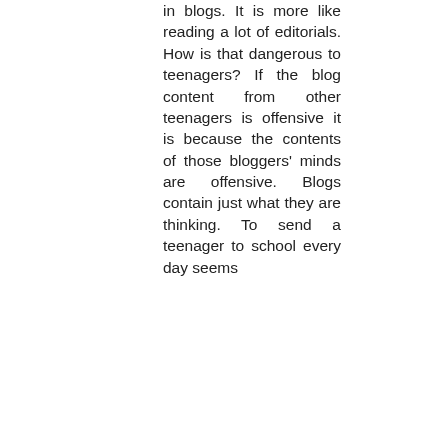in blogs. It is more like reading a lot of editorials. How is that dangerous to teenagers? If the blog content from other teenagers is offensive it is because the contents of those bloggers' minds are offensive. Blogs contain just what they are thinking. To send a teenager to school every day seems